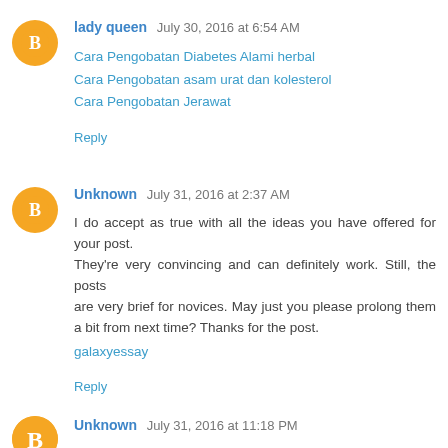lady queen  July 30, 2016 at 6:54 AM
Cara Pengobatan Diabetes Alami herbal
Cara Pengobatan asam urat dan kolesterol
Cara Pengobatan Jerawat
Reply
Unknown  July 31, 2016 at 2:37 AM
I do accept as true with all the ideas you have offered for your post.
They're very convincing and can definitely work. Still, the posts
are very brief for novices. May just you please prolong them a bit from next time? Thanks for the post.
galaxyessay
Reply
Unknown  July 31, 2016 at 11:18 PM